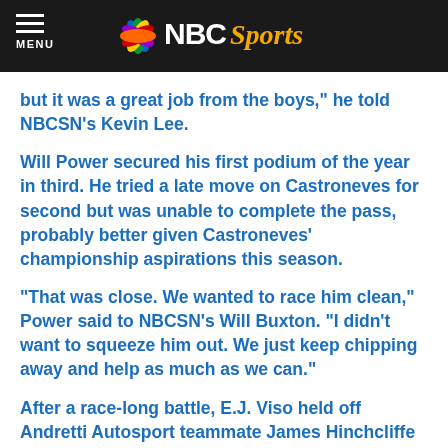NBC Sports
but it was a great job from the boys," he told NBCSN's Kevin Lee.
Will Power secured his first podium of the year in third. He tried a late move on Castroneves for second but was unable to complete the pass, probably better given Castroneves' championship aspirations this season.
“That was close. We wanted to race him clean,” Power said to NBCSN's Will Buxton. “I didn’t want to squeeze him out. We just keep chipping away and help as much as we can.”
After a race-long battle, E.J. Viso held off Andretti Autosport teammate James Hinchcliffe for fourth with Scott Dixon, Takuma Sato, Dario Franchitti, Justin Wilson and Tony Kanaan in the top 10.